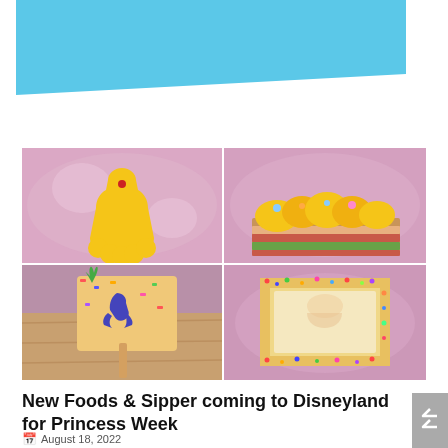[Figure (other): Blue banner/header graphic at top of page]
[Figure (photo): 2x2 grid of food photos: top-left shows a yellow Belle dress-shaped sugar cookie on a pink bokeh background; top-right shows yellow frosted cupcakes in a red and green checkered box on pink bokeh background; bottom-left shows a rice crispy treat decorated with a blue mermaid tail on a wooden surface; bottom-right shows a square sprinkle-covered treat with colorful decoration on pink bokeh background]
New Foods & Sipper coming to Disneyland for Princess Week
August 18, 2022